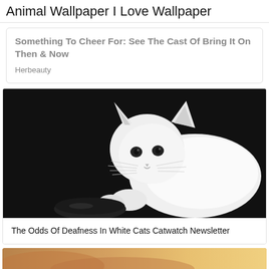Animal Wallpaper I Love Wallpaper
Something To Cheer For: See The Cast Of Bring It On Then & Now
Herbeauty
[Figure (photo): Black and white photograph of a white cat looking down against a dark background]
The Odds Of Deafness In White Cats Catwatch Newsletter
[Figure (photo): Partial view of another animal image at the bottom of the page, warm brown tones]